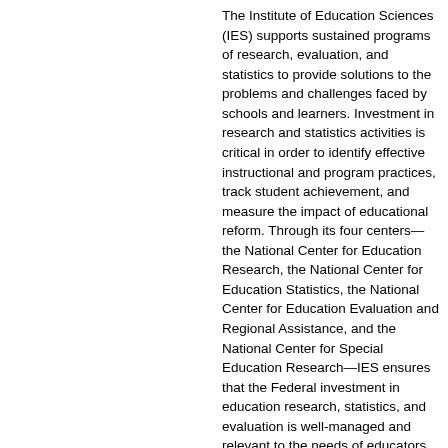The Institute of Education Sciences (IES) supports sustained programs of research, evaluation, and statistics to provide solutions to the problems and challenges faced by schools and learners. Investment in research and statistics activities is critical in order to identify effective instructional and program practices, track student achievement, and measure the impact of educational reform. Through its four centers—the National Center for Education Research, the National Center for Education Statistics, the National Center for Education Evaluation and Regional Assistance, and the National Center for Special Education Research—IES ensures that the Federal investment in education research, statistics, and evaluation is well-managed and relevant to the needs of educators and policymakers.
For 2012, the Administration is seeking $760.5 million for IES activities, an increase of $101.5 million over the 2011 CR level. This request would enable IES to award up to $40 million in new research and development grants in early learning and elementary, secondary, and postsecondary education and to initiate several new evaluations of interventions to improve college enrollment, persistence,